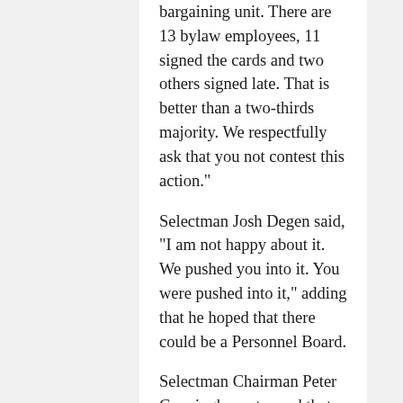bargaining unit. There are 13 bylaw employees, 11 signed the cards and two others signed late. That is better than a two-thirds majority. We respectfully ask that you not contest this action."
Selectman Josh Degen said, "I am not happy about it. We pushed you into it. You were pushed into it," adding that he hoped that there could be a Personnel Board.
Selectman Chairman Peter Cunningham stressed that the Bylaw Review Committee was continuing its work and he viewed the "Personnel Board as advisory and having no impact on the bylaw employees. The majority is not subject to the Personnel Board and there might be a couple of people to oversee."